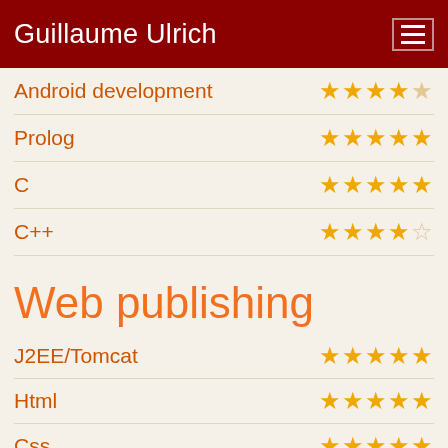Guillaume Ulrich
Android development — ★★★★★ (4 full, 1 empty? 4 full)
Prolog — ★★★★★
C — ★★★★★
C++ — ★★★★☆
Web publishing
J2EE/Tomcat — ★★★★★
Html — ★★★★★
Css — ★★★★★
Javascript — ★★★★★
PHP — ★★★★★
SQL — ★★★★★
Play Framework — ★★★★☆
Big Data — ★★★☆☆
Hadoop — (partially visible)